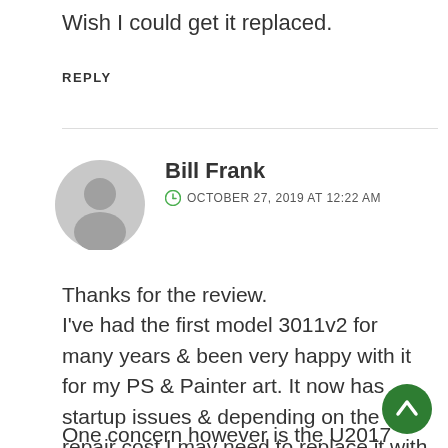Wish I could get it replaced.
REPLY
Bill Frank
OCTOBER 27, 2019 AT 12:22 AM
Thanks for the review. I've had the first model 3011v2 for many years & been very happy with it for my PS & Painter art. It now has startup issues & depending on the repair cost I may need to replace it with this model
One concern however is the U2017